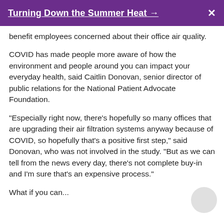Turning Down the Summer Heat → X
benefit employees concerned about their office air quality.
COVID has made people more aware of how the environment and people around you can impact your everyday health, said Caitlin Donovan, senior director of public relations for the National Patient Advocate Foundation.
"Especially right now, there's hopefully so many offices that are upgrading their air filtration systems anyway because of COVID, so hopefully that's a positive first step," said Donovan, who was not involved in the study. "But as we can tell from the news every day, there's not complete buy-in and I'm sure that's an expensive process."
What if you can...